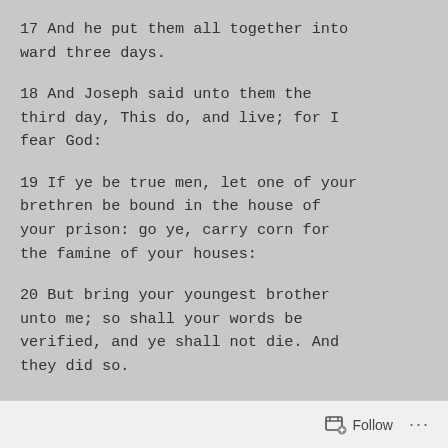17 And he put them all together into ward three days.
18 And Joseph said unto them the third day, This do, and live; for I fear God:
19 If ye be true men, let one of your brethren be bound in the house of your prison: go ye, carry corn for the famine of your houses:
20 But bring your youngest brother unto me; so shall your words be verified, and ye shall not die. And they did so.
Follow ...